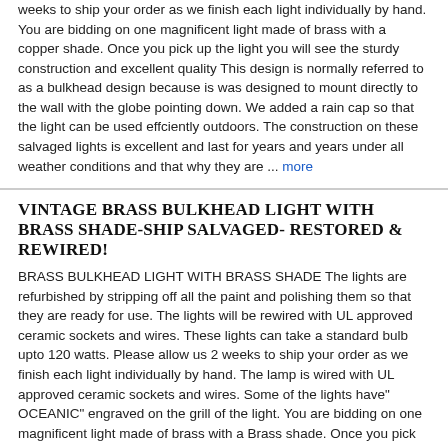weeks to ship your order as we finish each light individually by hand. You are bidding on one magnificent light made of brass with a copper shade. Once you pick up the light you will see the sturdy construction and excellent quality This design is normally referred to as a bulkhead design because is was designed to mount directly to the wall with the globe pointing down. We added a rain cap so that the light can be used effciently outdoors. The construction on these salvaged lights is excellent and last for years and years under all weather conditions and that why they are ... more
VINTAGE BRASS BULKHEAD LIGHT WITH BRASS SHADE-SHIP SALVAGED- RESTORED & REWIRED!
BRASS BULKHEAD LIGHT WITH BRASS SHADE The lights are refurbished by stripping off all the paint and polishing them so that they are ready for use. The lights will be rewired with UL approved ceramic sockets and wires. These lights can take a standard bulb upto 120 watts. Please allow us 2 weeks to ship your order as we finish each light individually by hand. The lamp is wired with UL approved ceramic sockets and wires. Some of the lights have" OCEANIC" engraved on the grill of the light. You are bidding on one magnificent light made of brass with a Brass shade. Once you pick up the light you will see the sturdy construction and excellent quality This design is normally referred to as a bulkhead design because is was designed to mount directly to the wall with the globe pointing down. We added a rain cap so that the light can be ... more
VINTAGE BRASS BULKHEAD LIGHT THICK BENT- RESTORED, REWIRED & READY FOR USE